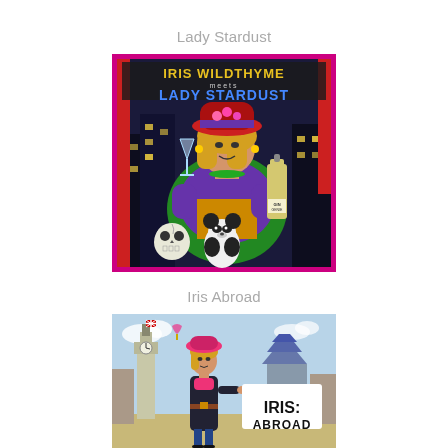Lady Stardust
[Figure (illustration): Book cover for 'Iris Wildthyme meets Lady Stardust' — illustrated comic-style cover showing a glamorous woman in a red hat and green fur coat holding a martini glass, with a panda toy and skull, a bottle of Gin Genie, city skyline at night in the background. Title text 'IRIS WILDTHYME MEETS LADY STARDUST' in yellow and blue lettering.]
Iris Abroad
[Figure (illustration): Book cover for 'IRIS: ABROAD' — illustrated cover showing a woman in a pink hat and black coat in front of Big Ben and international landmarks. White box with bold text 'IRIS: ABROAD'.]